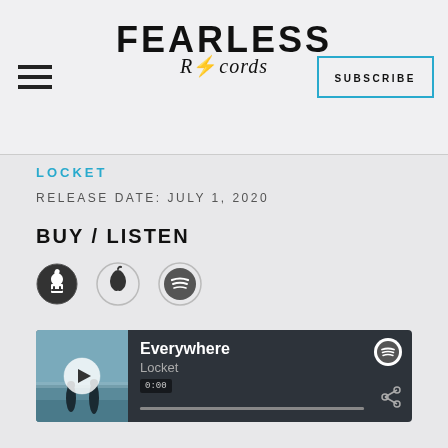FEARLESS Records — SUBSCRIBE
LOCKET
RELEASE DATE: JULY 1, 2020
BUY / LISTEN
[Figure (other): Apple Music and Spotify icons for Buy/Listen links]
[Figure (screenshot): Spotify embedded player showing track 'Everywhere' by Locket, with album thumbnail showing two figures at the beach, play button, progress bar at 0:00, and share icon]